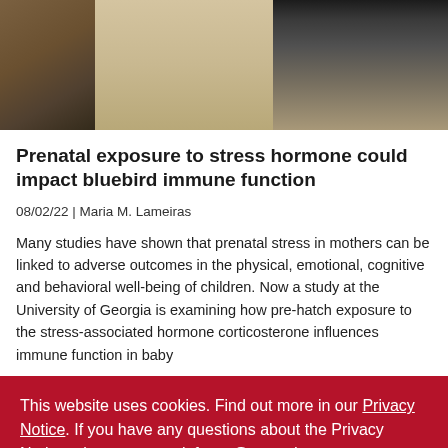[Figure (photo): Partial photo of a person near a wooden birdhouse or nesting box, outdoor sandy/natural setting]
Prenatal exposure to stress hormone could impact bluebird immune function
08/02/22 | Maria M. Lameiras
Many studies have shown that prenatal stress in mothers can be linked to adverse outcomes in the physical, emotional, cognitive and behavioral well-being of children. Now a study at the University of Georgia is examining how pre-hatch exposure to the stress-associated hormone corticosterone influences immune function in baby
This website uses cookies. Find out more in our Privacy Notice. If you have any questions about the Privacy Notice, please contact infosec@uga.edu.
OK